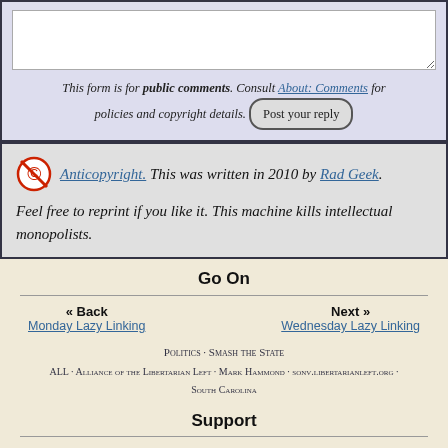This form is for public comments. Consult About: Comments for policies and copyright details. [Post your reply]
Anticopyright. This was written in 2010 by Rad Geek. Feel free to reprint if you like it. This machine kills intellectual monopolists.
Go On
« Back - Monday Lazy Linking | Next » - Wednesday Lazy Linking
Politics · Smash the State · ALL · Alliance of the Libertarian Left · Mark Hammond · sonv.libertarianleft.org · South Carolina
Support
Donate or Via PayPal